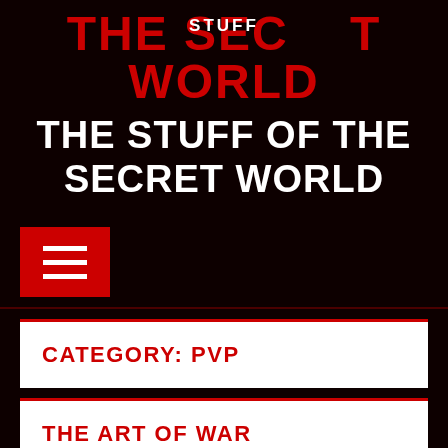THE SECRET WORLD — THE STUFF OF THE SECRET WORLD
[Figure (screenshot): Menu/hamburger button icon: red square with three white horizontal lines]
CATEGORY: PVP
THE ART OF WAR